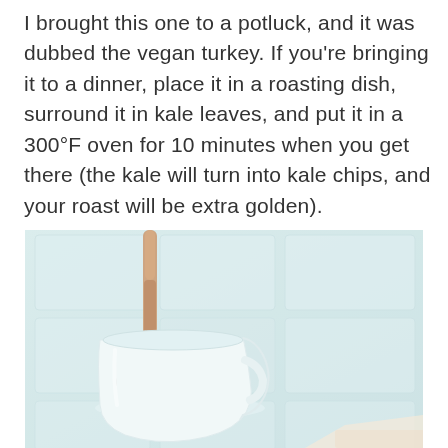I brought this one to a potluck, and it was dubbed the vegan turkey. If you're bringing it to a dinner, place it in a roasting dish, surround it in kale leaves, and put it in a 300°F oven for 10 minutes when you get there (the kale will turn into kale chips, and your roast will be extra golden).
[Figure (photo): A close-up photo of white ceramic kitchenware (a mug or pitcher) with a wooden spoon or spatula, against a light blue-white tiled background. The image is soft-focused and light in tone.]